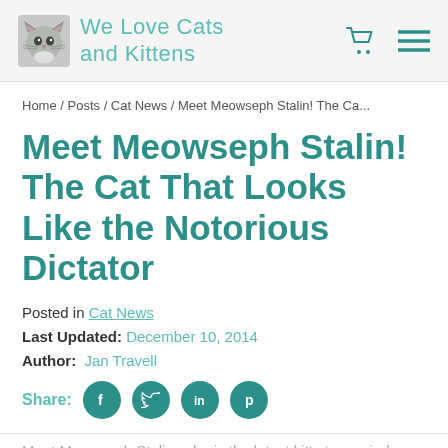We Love Cats and Kittens
Home / Posts / Cat News / Meet Meowseph Stalin! The Ca...
Meet Meowseph Stalin! The Cat That Looks Like the Notorious Dictator
Posted in Cat News
Last Updated: December 10, 2014
Author: Jan Travell
Share:
Meet Meowseph Stalin, who is the latest kitty to go viral